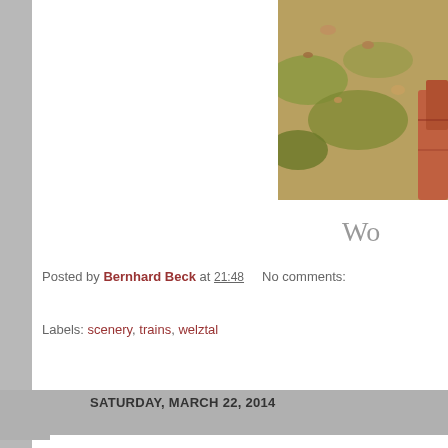[Figure (photo): Partial outdoor photo showing rocky terrain with green moss/grass and reddish-brown stones, cropped at top-right of page]
Wo
Posted by Bernhard Beck at 21:48    No comments:
Labels: scenery, trains, welztal
SATURDAY, MARCH 22, 2014
Colorado Railroad Museum: bits and pieces
[Figure (photo): Partial photo showing a light grey/blue overcast sky, cropped at bottom of page]